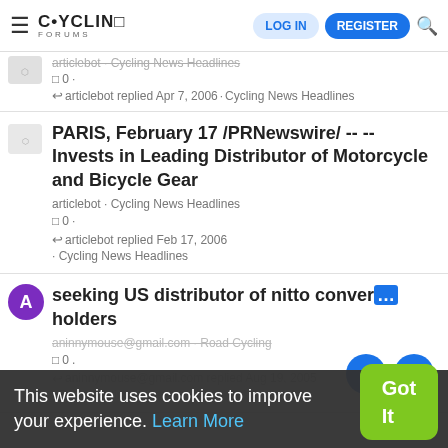Cycling Forums — LOG IN | REGISTER
articlebot · Cycling News Headlines
□ 0 ·
↩ articlebot replied Apr 7, 2006 · Cycling News Headlines
PARIS, February 17 /PRNewswire/ -- -- Invests in Leading Distributor of Motorcycle and Bicycle Gear
articlebot · Cycling News Headlines
□ 0 ·
↩ articlebot replied Feb 17, 2006 · Cycling News Headlines
seeking US distributor of nitto conver… holders
aninnymouse@gmail.com · Road Cycling
□ 0.
↩ aninnymouse@gmail.com replied Aug 19, 2005 · Road Cycling
This website uses cookies to improve your experience. Learn More